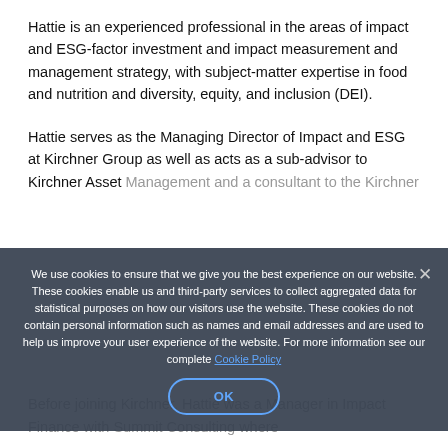Hattie is an experienced professional in the areas of impact and ESG-factor investment and impact measurement and management strategy, with subject-matter expertise in food and nutrition and diversity, equity, and inclusion (DEI).
Hattie serves as the Managing Director of Impact and ESG at Kirchner Group as well as acts as a sub-advisor to Kirchner Asset Management and a consultant to the Kirchner Key Initiatives.
We use cookies to ensure that we give you the best experience on our website. These cookies enable us and third-party services to collect aggregated data for statistical purposes on how our visitors use the website. These cookies do not contain personal information such as names and email addresses and are used to help us improve your user experience of the website. For more information see our complete Cookie Policy
Before joining Kirchner, Hattie was a Manager in Impact Finance with Summit Consulting where